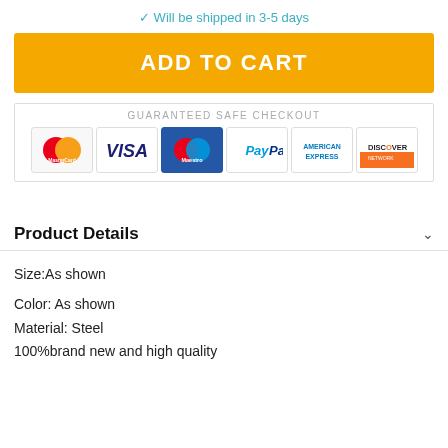✓ Will be shipped in 3-5 days
ADD TO CART
[Figure (other): Guaranteed Safe Checkout section with payment logos: MasterCard, VISA, Maestro, PayPal, American Express, Discover Network]
Product Details
Size:As shown
Color: As shown
Material: Steel
100%brand new and high quality